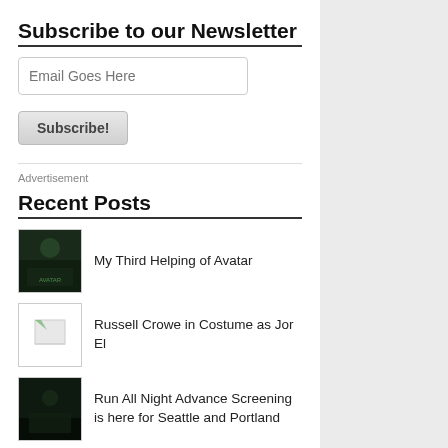Subscribe to our Newsletter
Email Goes Here
Subscribe!
Advertisement
Recent Posts
My Third Helping of Avatar
Russell Crowe in Costume as Jor El
Run All Night Advance Screening is here for Seattle and Portland